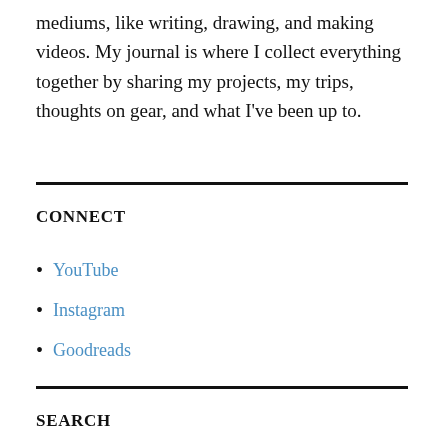mediums, like writing, drawing, and making videos. My journal is where I collect everything together by sharing my projects, my trips, thoughts on gear, and what I've been up to.
CONNECT
YouTube
Instagram
Goodreads
SEARCH